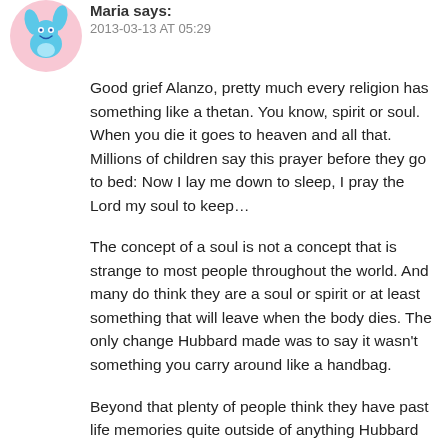Maria says:
2013-03-13 AT 05:29
Good grief Alanzo, pretty much every religion has something like a thetan. You know, spirit or soul. When you die it goes to heaven and all that. Millions of children say this prayer before they go to bed: Now I lay me down to sleep, I pray the Lord my soul to keep…
The concept of a soul is not a concept that is strange to most people throughout the world. And many do think they are a soul or spirit or at least something that will leave when the body dies. The only change Hubbard made was to say it wasn't something you carry around like a handbag.
Beyond that plenty of people think they have past life memories quite outside of anything Hubbard ever wrote. Like MILLIONS of people — the Hindu religion, Buddhism, and many, many